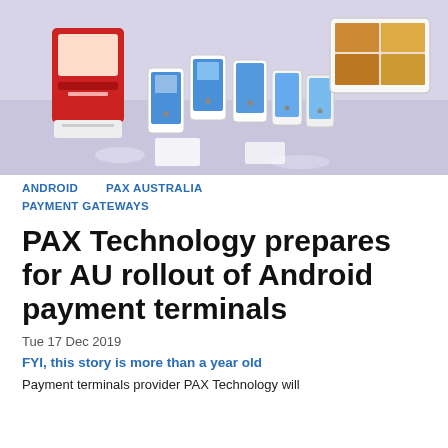[Figure (photo): Photo of PAX Technology payment terminals — various Android POS devices including a red terminal, multiple handheld devices, and tablet-style terminals arranged on a display surface.]
ANDROID   PAX AUSTRALIA
PAYMENT GATEWAYS
PAX Technology prepares for AU rollout of Android payment terminals
Tue 17 Dec 2019
FYI, this story is more than a year old
Payment terminals provider PAX Technology will